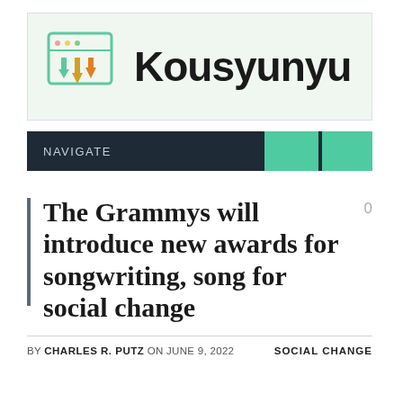[Figure (logo): Kousyunyu website logo with upward arrow icons on a light green background and bold dark text reading Kousyunyu]
NAVIGATE
The Grammys will introduce new awards for songwriting, song for social change
BY CHARLES R. PUTZ ON JUNE 9, 2022   SOCIAL CHANGE